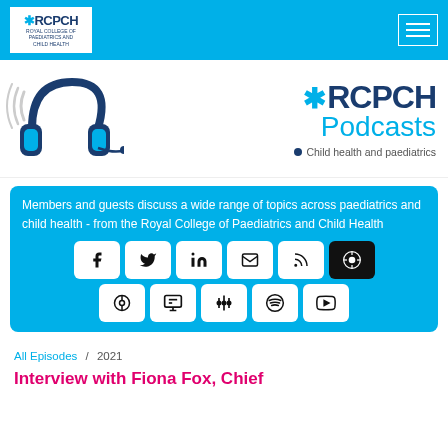RCPCH - Royal College of Paediatrics and Child Health
[Figure (logo): RCPCH Podcasts banner with headphones illustration, RCPCH logo, Podcasts text, and Child health and paediatrics subtitle]
Members and guests discuss a wide range of topics across paediatrics and child health - from the Royal College of Paediatrics and Child Health
[Figure (infographic): Social media sharing buttons: Facebook, Twitter, LinkedIn, Email, RSS, Podchaser, Podcastindex, Google Podcasts, Spotify, YouTube]
All Episodes / 2021
Interview with Fiona Fox, Chief